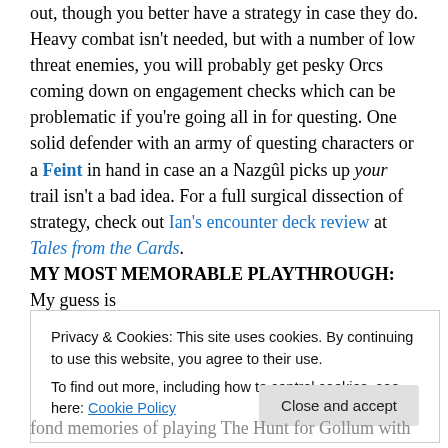out, though you better have a strategy in case they do. Heavy combat isn't needed, but with a number of low threat enemies, you will probably get pesky Orcs coming down on engagement checks which can be problematic if you're going all in for questing. One solid defender with an army of questing characters or a Feint in hand in case an a Nazgûl picks up your trail isn't a bad idea. For a full surgical dissection of strategy, check out Ian's encounter deck review at Tales from the Cards.
MY MOST MEMORABLE PLAYTHROUGH: My guess is
Privacy & Cookies: This site uses cookies. By continuing to use this website, you agree to their use. To find out more, including how to control cookies, see here: Cookie Policy
fond memories of playing The Hunt for Gollum with my